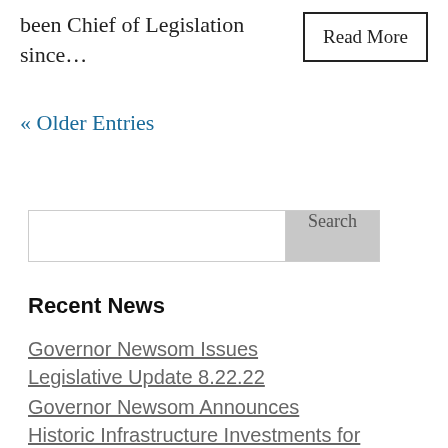been Chief of Legislation since…
Read More
« Older Entries
Search
Recent News
Governor Newsom Issues Legislative Update 8.22.22
Governor Newsom Announces Historic Infrastructure Investments for Continued Recovery in Communities